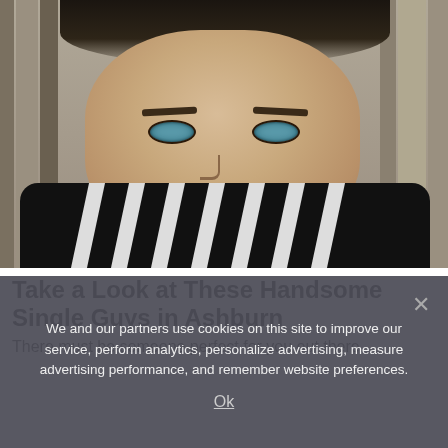[Figure (photo): Close-up portrait photo of a young handsome man with blue/green eyes, short brown hair, light stubble, wearing a black and white striped shirt, posed in front of wooden planks background.]
Take a Look at These Handsome Single Guys in Ashburn
There must be someone perfect for you out there.
We and our partners use cookies on this site to improve our service, perform analytics, personalize advertising, measure advertising performance, and remember website preferences.
Ok